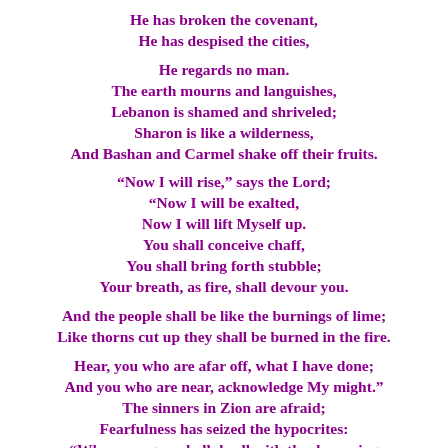He has broken the covenant,
He has despised the cities,

He regards no man.
The earth mourns and languishes,
Lebanon is shamed and shriveled;
Sharon is like a wilderness,
And Bashan and Carmel shake off their fruits.

“Now I will rise,” says the Lord;
“Now I will be exalted,
Now I will lift Myself up.
You shall conceive chaff,
You shall bring forth stubble;
Your breath, as fire, shall devour you.

And the people shall be like the burnings of lime;
Like thorns cut up they shall be burned in the fire.

Hear, you who are afar off, what I have done;
And you who are near, acknowledge My might.”
The sinners in Zion are afraid;
Fearfulness has seized the hypocrites:
“Who among us shall dwell with the devouring fire?